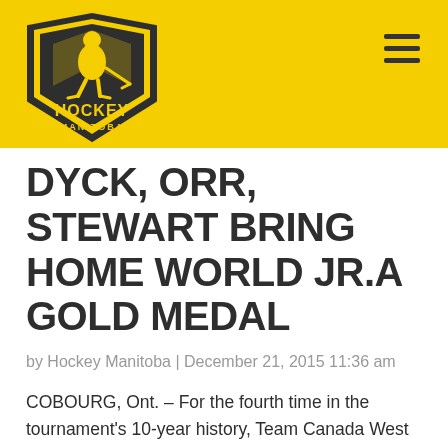[Figure (logo): Hockey Manitoba shield logo with hockey player silhouette, yellow and black colors, on yellow header bar]
DYCK, ORR, STEWART BRING HOME WORLD JR.A GOLD MEDAL
by Hockey Manitoba | December 21, 2015 11:36 am
COBOURG, Ont. – For the fourth time in the tournament's 10-year history, Team Canada West has won the gold medal at the World Junior A Challenge, defeating Russia 2-1 in Saturday's gold-medal game at the Cobourg Community Centre.